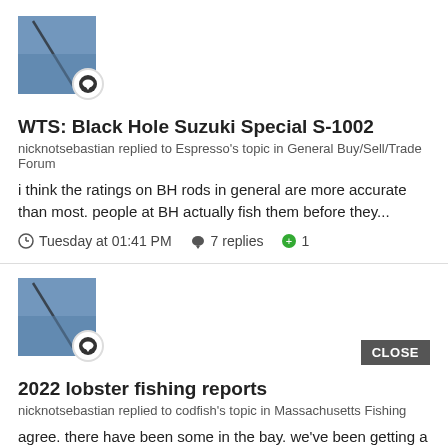[Figure (photo): Avatar thumbnail showing fishing rod against blue water with a speech bubble badge overlay]
WTS: Black Hole Suzuki Special S-1002
nicknotsebastian replied to Espresso's topic in General Buy/Sell/Trade Forum
i think the ratings on BH rods in general are more accurate than most. people at BH actually fish them before they...
Tuesday at 01:41 PM   7 replies   +1
[Figure (photo): Avatar thumbnail showing fishing rod against blue water with a speech bubble badge overlay]
2022 lobster fishing reports
nicknotsebastian replied to codfish's topic in Massachusetts Fishing
agree. there have been some in the bay. we've been getting a couple here and there in our green grab traps...
Tuesday at 12:58 PM   98 replies